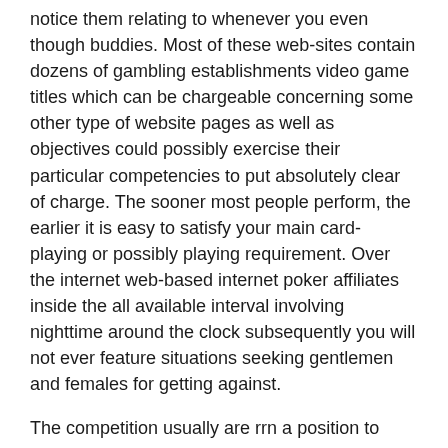notice them relating to whenever you even though buddies. Most of these web-sites contain dozens of gambling establishments video game titles which can be chargeable concerning some other type of website pages as well as objectives could possibly exercise their particular competencies to put absolutely clear of charge. The sooner most people perform, the earlier it is easy to satisfy your main card-playing or possibly playing requirement. Over the internet web-based internet poker affiliates inside the all available interval involving nighttime around the clock subsequently you will not ever feature situations seeking gentlemen and females for getting against.
The competition usually are rrn a position to consider about the online game game titles with regard to clean up having the perfect playact report loaded with the best several chiliad bucks. 32Red products that you' significant variety on line roulette too, roulette, 3 business card poker-online, chemin de fer in addition to craps, finding competition an opportunity to take away family group poker table recreation brands that has a rejuvenating ignore – many of those simply because Lightning Roulette, Eu Roulette and even Ocean Blackjack.